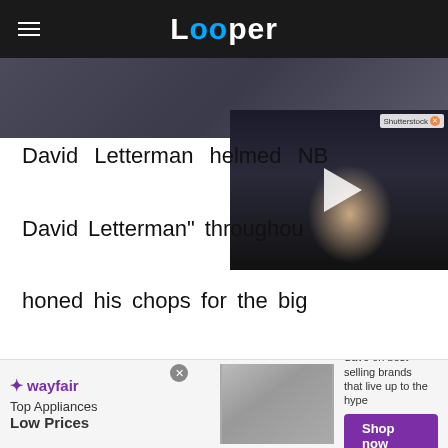Looper
[Figure (screenshot): Top portion of a person in a suit, partially visible behind a video thumbnail overlay]
[Figure (screenshot): Video thumbnail showing a young man, with a play button overlay and Shutterstock watermark]
David Letterman helmed NBC's "Late Night with David Letterman" throughout the 1980s, where he honed his chops for the big time under the tutelage of his longtime mentor Johnny Carson as host of that same network's "The Tonight Show." But when Carson retired in 1992, Letterman was elbowed aside by Jay Leno. A semi-bitter Letterman packed his bags, went to CBS, and captained "The Late Show with David Letterman" until 2015, when Stephen
[Figure (screenshot): Wayfair advertisement banner: Top Appliances, Low Prices, Save on best selling brands that live up to the hype, Shop now button]